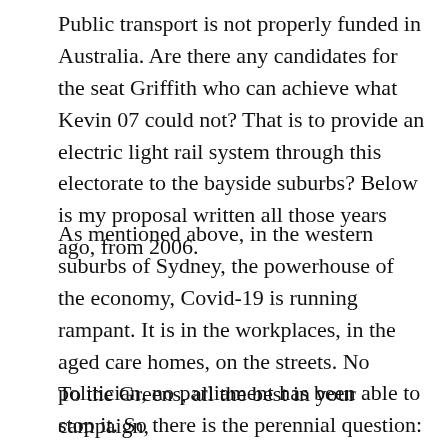Public transport is not properly funded in Australia. Are there any candidates for the seat Griffith who can achieve what Kevin 07 could not? That is to provide an electric light rail system through this electorate to the bayside suburbs? Below is my proposal written all those years ago, from 2006.
As mentioned above, in the western suburbs of Sydney, the powerhouse of the economy, Covid-19 is running rampant. It is in the workplaces, in the aged care homes, on the streets. No politician, no parliament has been able to stop it. So there is the perennial question: can radical change for equality ever be achieved by any parliament?
To the Greens, all the best in your campaign,
Ian
————